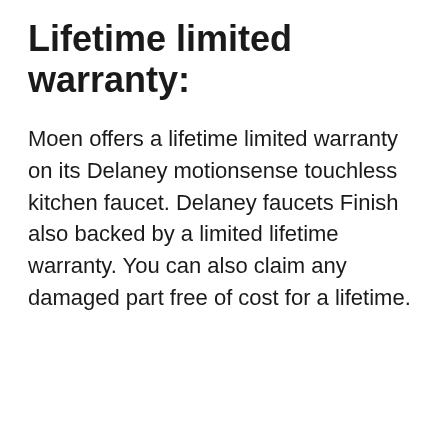Lifetime limited warranty:
Moen offers a lifetime limited warranty on its Delaney motionsense touchless kitchen faucet. Delaney faucets Finish also backed by a limited lifetime warranty. You can also claim any damaged part free of cost for a lifetime.